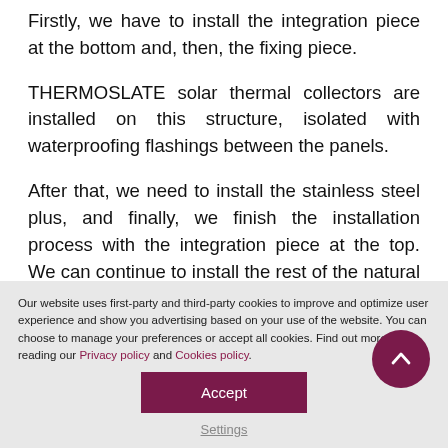Firstly, we have to install the integration piece at the bottom and, then, the fixing piece.

THERMOSLATE solar thermal collectors are installed on this structure, isolated with waterproofing flashings between the panels.

After that, we need to install the stainless steel plus, and finally, we finish the installation process with the integration piece at the top. We can continue to install the rest of the natural slate in roofs or facades.
Our website uses first-party and third-party cookies to improve and optimize user experience and show you advertising based on your use of the website. You can choose to manage your preferences or accept all cookies. Find out more by reading our Privacy policy and Cookies policy.